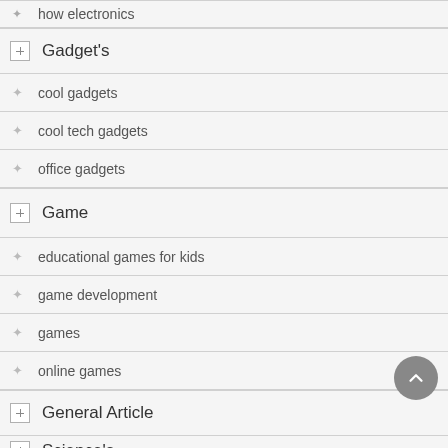how electronics
Gadget's
cool gadgets
cool tech gadgets
office gadgets
Game
educational games for kids
game development
games
online games
General Article
Science's